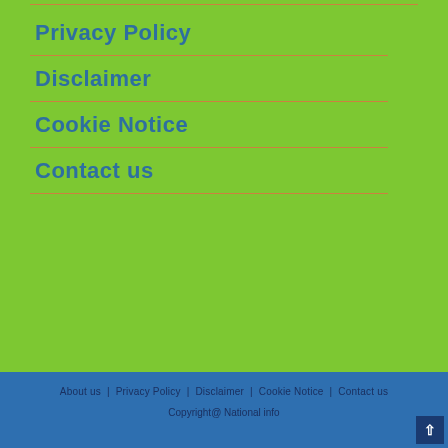Privacy Policy
Disclaimer
Cookie Notice
Contact us
About us | Privacy Policy | Disclaimer | Cookie Notice | Contact us  Copyright@ National info